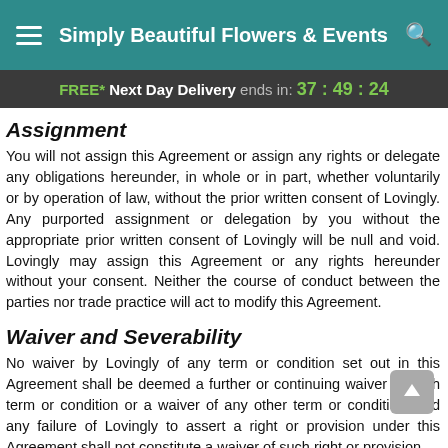Simply Beautiful Flowers & Events
FREE* Next Day Delivery ends in: 37:49:24
Assignment
You will not assign this Agreement or assign any rights or delegate any obligations hereunder, in whole or in part, whether voluntarily or by operation of law, without the prior written consent of Lovingly. Any purported assignment or delegation by you without the appropriate prior written consent of Lovingly will be null and void. Lovingly may assign this Agreement or any rights hereunder without your consent. Neither the course of conduct between the parties nor trade practice will act to modify this Agreement.
Waiver and Severability
No waiver by Lovingly of any term or condition set out in this Agreement shall be deemed a further or continuing waiver of such term or condition or a waiver of any other term or condition, and any failure of Lovingly to assert a right or provision under this Agreement shall not constitute a waiver of such right or provision.
If any provision of this Agreement is held by a court or other tribunal